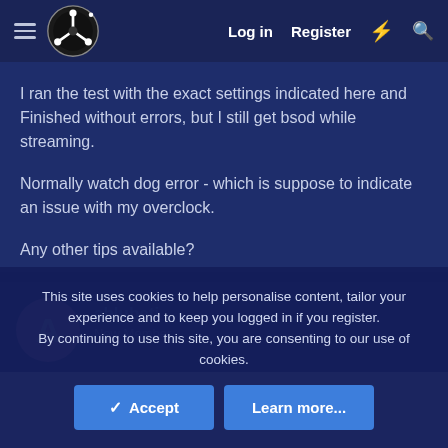Log in  Register
I ran the test with the exact settings indicated here and Finished without errors, but I still get bsod while streaming.

Normally watch dog error - which is suppose to indicate an issue with my overclock.

Any other tips available?
ablubeti
New Member
This site uses cookies to help personalise content, tailor your experience and to keep you logged in if you register.
By continuing to use this site, you are consenting to our use of cookies.